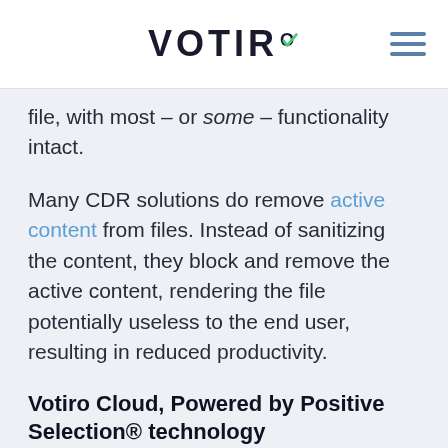VOTIRO
file, with most – or some – functionality intact.
Many CDR solutions do remove active content from files. Instead of sanitizing the content, they block and remove the active content, rendering the file potentially useless to the end user, resulting in reduced productivity.
Votiro Cloud, Powered by Positive Selection® technology
Votiro's Positive Selection technology is the next evolution of CDR technology. Votiro Cloud uses template-based reconstruction to re-create clean templates with only the known good content